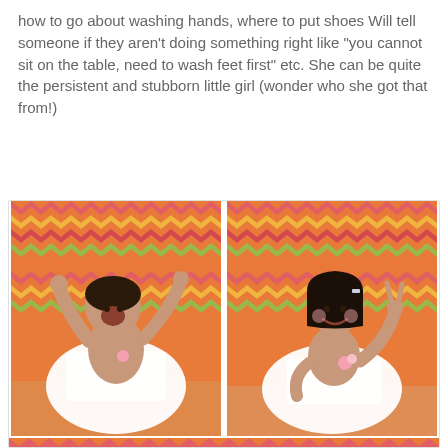how to go about washing hands, where to put shoes Will tell someone if they aren't doing something right like "you cannot sit on the table, need to wash feet first" etc. She can be quite the persistent and stubborn little girl (wonder who she got that from!)
[Figure (photo): Two side-by-side photos of a young girl in a white dress in front of a colorful chevron/zigzag patterned backdrop. Left photo: girl with arms raised, mouth open laughing. Right photo: girl smiling making a hand gesture. Below is a partial third photo showing the top of a child's head.]